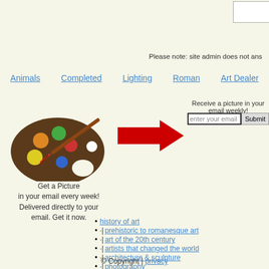[Figure (other): White input box, partially visible at top right]
Please note: site admin does not ans
Animals  Completed  Lighting  Roman  Art Dealer
[Figure (illustration): Artist palette with paintbrush, colorful paint dots]
Get a Picture in your email every week! Delivered directly to your email. Get it now.
[Figure (other): Red arrow pointing right]
Receive a picture in your email weekly!
[Figure (other): Email input field with placeholder 'enter your email here!' and Submit button]
history of art
·| prehistoric to romanesque art
·| art of the 20th century
·| artists that changed the world
·| architecture & sculpture
·| photography
·| classical music
© Copyright | privacy